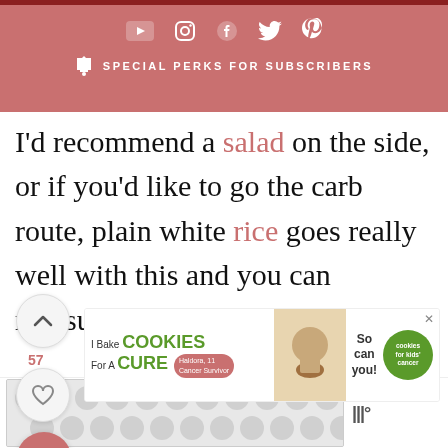SPECIAL PERKS FOR SUBSCRIBERS
I'd recommend a salad on the side, or if you'd like to go the carb route, plain white rice goes really well with this and you can measure out your portion.
[Figure (screenshot): Advertisement banner: I Bake COOKIES For A CURE – cookies for kids' cancer. So can you! Haldora, 11 Cancer Survivor]
[Figure (screenshot): Bottom advertisement area with polka dot pattern background and Mediavine logo]